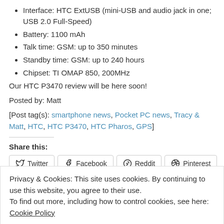Interface: HTC ExtUSB (mini-USB and audio jack in one; USB 2.0 Full-Speed)
Battery: 1100 mAh
Talk time: GSM: up to 350 minutes
Standby time: GSM: up to 240 hours
Chipset: TI OMAP 850, 200MHz
Our HTC P3470 review will be here soon!
Posted by: Matt
[Post tag(s): smartphone news, Pocket PC news, Tracy & Matt, HTC, HTC P3470, HTC Pharos, GPS]
Share this:
Twitter Facebook Reddit Pinterest
Privacy & Cookies: This site uses cookies. By continuing to use this website, you agree to their use.
To find out more, including how to control cookies, see here: Cookie Policy
Close and accept